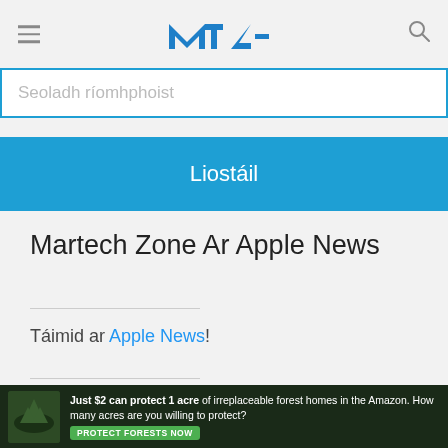MZ (Martech Zone logo)
Seoladh ríomhphoist
Liostáil
Martech Zone Ar Apple News
Táimid ar Apple News!
[Figure (logo): Read it on Apple News badge with red Apple News icon]
[Figure (photo): Advertisement banner: Just $2 can protect 1 acre of irreplaceable forest homes in the Amazon. How many acres are you willing to protect? PROTECT FORESTS NOW]